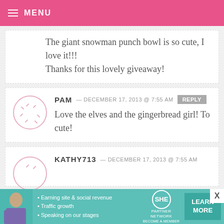MENU
The giant snowman punch bowl is so cute, I love it!!!
Thanks for this lovely giveaway!
PAM — DECEMBER 17, 2013 @ 7:55 AM REPLY
Love the elves and the gingerbread girl! To cute!
KATHY713 — DECEMBER 17, 2013 @ 7:55 AM
[Figure (infographic): SHE Partner Network advertisement banner with photo of woman, bullet points about earning, traffic, speaking, SHE logo, and Learn More button]